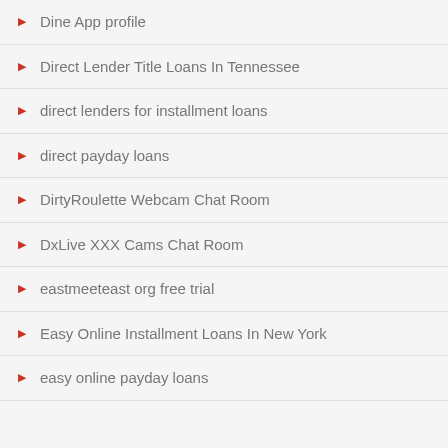Dine App profile
Direct Lender Title Loans In Tennessee
direct lenders for installment loans
direct payday loans
DirtyRoulette Webcam Chat Room
DxLive XXX Cams Chat Room
eastmeeteast org free trial
Easy Online Installment Loans In New York
easy online payday loans